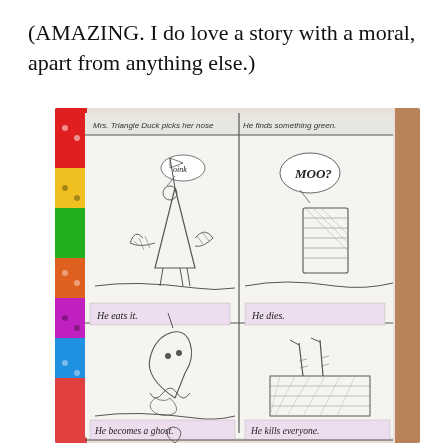(AMAZING. I do love a story with a moral, apart from anything else.)
[Figure (photo): A child's hand-drawn comic strip about 'Mrs. Triangle Duck'. The comic has 6 panels: Panel 1 shows a triangle duck character with a speech bubble saying 'oink', caption reads 'Mrs. Triangle Duck picks her nose'; Panel 2 shows a green object with speech bubble 'MOO?' and caption 'He finds something green'; Panel 3 caption reads 'He eats it.'; Panel 4 caption reads 'He dies.'; Panel 5 shows a ghost figure (triangle duck as ghost), caption reads 'He becomes a ghost.'; Panel 6 shows legs/feet sticking up, caption reads 'He kills everyone.' A partial 7th panel is visible at the bottom with another ghost figure.]